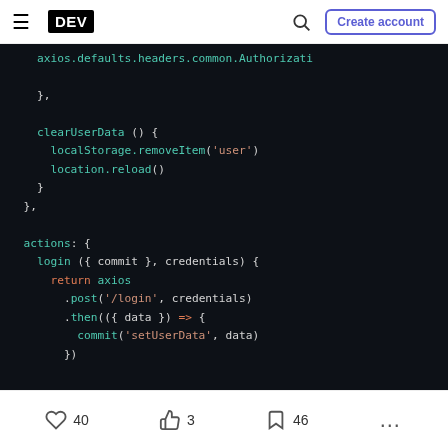DEV  Create account
[Figure (screenshot): Dark-themed code editor snippet showing JavaScript Vuex store code with clearUserData method and actions login function using axios]
40  3  46  ...